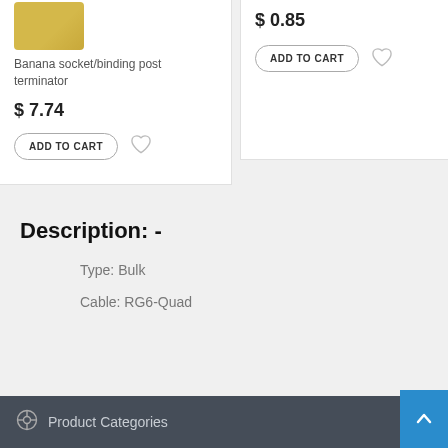[Figure (photo): Partial product image (banana socket/binding post terminator) visible at top of left card]
Banana socket/binding post terminator
$ 7.74
ADD TO CART
$ 0.85
ADD TO CART
Description: -
Type:  Bulk
Cable:  RG6-Quad
Product Categories